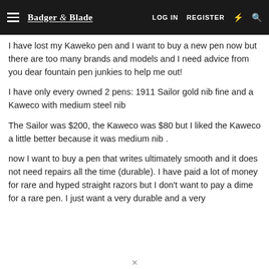Badger & Blade | LOG IN | REGISTER
I have lost my Kaweko pen and I want to buy a new pen now but there are too many brands and models and I need advice from you dear fountain pen junkies to help me out!
I have only every owned 2 pens: 1911 Sailor gold nib fine and a Kaweco with medium steel nib
The Sailor was $200, the Kaweco was $80 but I liked the Kaweco a little better because it was medium nib .
now I want to buy a pen that writes ultimately smooth and it does not need repairs all the time (durable). I have paid a lot of money for rare and hyped straight razors but I don't want to pay a dime for a rare pen. I just want a very durable and a very